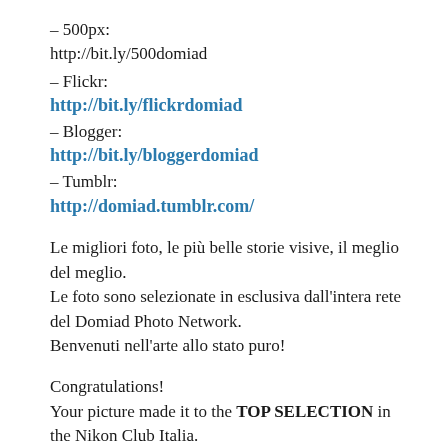– 500px:
http://bit.ly/500domiad
– Flickr:
http://bit.ly/flickrdomiad
– Blogger:
http://bit.ly/bloggerdomiad
– Tumblr:
http://domiad.tumblr.com/
Le migliori foto, le più belle storie visive, il meglio del meglio.
Le foto sono selezionate in esclusiva dall'intera rete del Domiad Photo Network.
Benvenuti nell'arte allo stato puro!
Congratulations!
Your picture made it to the TOP SELECTION in the Nikon Club Italia.